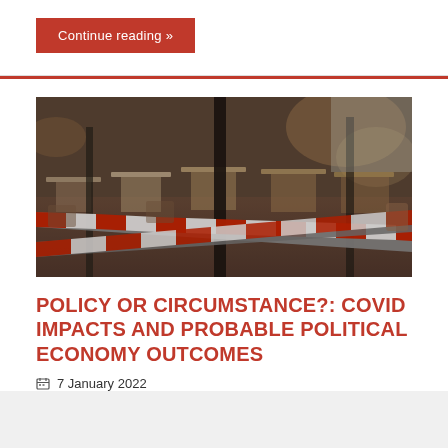Continue reading »
[Figure (photo): Restaurant or cafe interior with tables and chairs cordoned off by red and white warning tape wrapped around poles, suggesting COVID-19 closure restrictions.]
POLICY OR CIRCUMSTANCE?: COVID IMPACTS AND PROBABLE POLITICAL ECONOMY OUTCOMES
7 January 2022